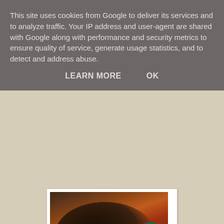This site uses cookies from Google to deliver its services and to analyze traffic. Your IP address and user-agent are shared with Google along with performance and security metrics to ensure quality of service, generate usage statistics, and to detect and address abuse.
LEARN MORE     OK
[Figure (photo): A dark wok or pan containing a cooked dish with reddish-brown food, possibly rice or a stir-fry, with a teal/green bowl visible in the lower right. Photo has a white border/frame.]
This was Boris' infamous announcement - 'go out, don't go out, go to work, work from home, don't travel on public transport, travel to work.' Clear as mud.
[Figure (photo): A photo showing trees with green foliage and what appears to be a dark animal or object, partially visible at the bottom of the frame. Photo has a white border/frame.]